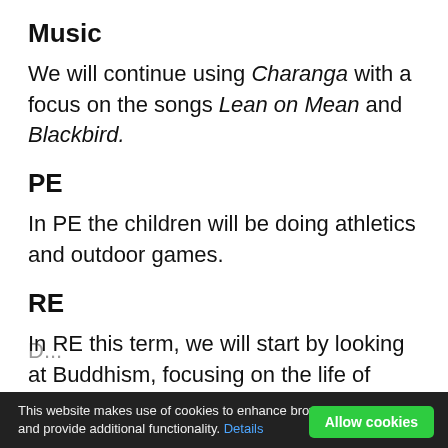Music
We will continue using Charanga with a focus on the songs Lean on Mean and Blackbird.
PE
In PE the children will be doing athletics and outdoor games.
RE
In RE this term, we will start by looking at Buddhism, focusing on the life of Buddha and meditation. After half term, we will explore Humanism and Humanist rites of passage.
This website makes use of cookies to enhance browsing experience and provide additional functionality. Details  Allow cookies